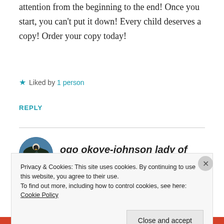attention from the beginning to the end! Once you start, you can't put it down! Every child deserves a copy! Order your copy today!
★ Liked by 1 person
REPLY
ogo okoye-johnson lady of grit
MARCH 05, 2014 AT 4:01 AM
Privacy & Cookies: This site uses cookies. By continuing to use this website, you agree to their use.
To find out more, including how to control cookies, see here: Cookie Policy
Close and accept